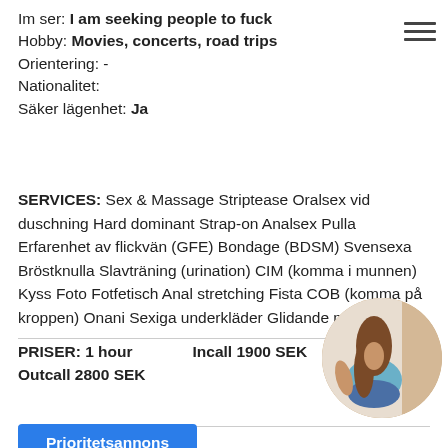Im ser: I am seeking people to fuck
Hobby: Movies, concerts, road trips
Orientering: -
Nationalitet:
Säker lägenhet: Ja
SERVICES: Sex & Massage Striptease Oralsex vid duschning Hard dominant Strap-on Analsex Pulla Erfarenhet av flickvän (GFE) Bondage (BDSM) Svensexa Bröstknulla Slavträning (urination) CIM (komma i munnen) Kyss Foto Fotfetisch Anal stretching Fista COB (komma på kroppen) Onani Sexiga underkläder Glidande massage
PRISER: 1 hour   Incall 1900 SEK   Outcall 2800 SEK
[Figure (photo): Circular cropped photo of a woman in a blue top and denim shorts, viewed from behind]
Prioritetsannons